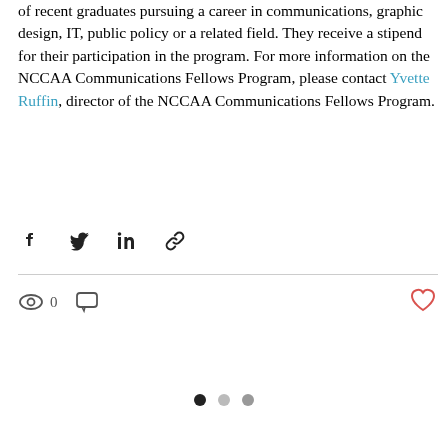of recent graduates pursuing a career in communications, graphic design, IT, public policy or a related field. They receive a stipend for their participation in the program. For more information on the NCCAA Communications Fellows Program, please contact Yvette Ruffin, director of the NCCAA Communications Fellows Program.
[Figure (infographic): Social share buttons: Facebook, Twitter, LinkedIn, and link copy icons]
[Figure (infographic): Post stats bar: 0 views icon, comment icon, and a heart (like) button in red outline style]
[Figure (infographic): Pagination dots: three dots — one black (active), one light gray, one medium gray]